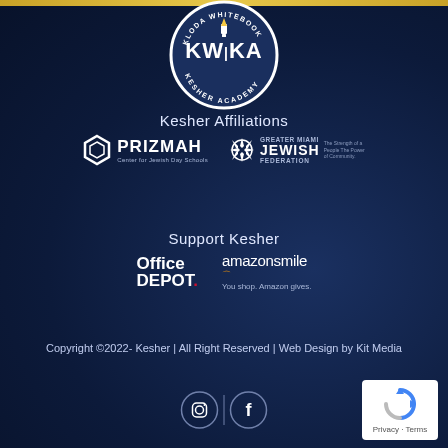[Figure (logo): KWKA Kloda Whitebook Kesher Academy circular logo with navy background and white text]
Kesher Affiliations
[Figure (logo): Prizmah - Center for Jewish Day Schools logo (white)]
[Figure (logo): Greater Miami Jewish Federation logo (white)]
Support Kesher
[Figure (logo): Office Depot logo (white with red dot)]
[Figure (logo): AmazonSmile - You shop. Amazon gives. logo]
Copyright ©2022- Kesher | All Right Reserved | Web Design by Kit Media
[Figure (logo): Instagram and Facebook social media icons in circles with divider]
[Figure (logo): reCAPTCHA badge with Privacy - Terms text]